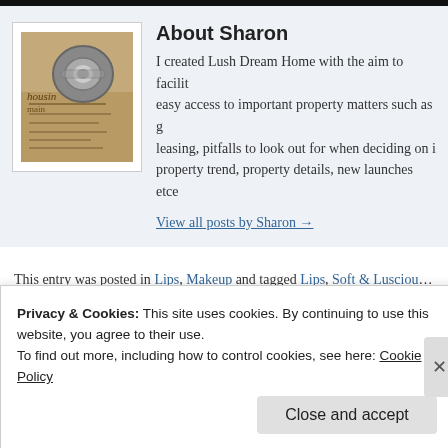[Figure (photo): Photo of a metallic ring/bolt on a housing document, representing real estate/property theme]
About Sharon
I created Lush Dream Home with the aim to facilitate easy access to important property matters such as g... leasing, pitfalls to look out for when deciding on i... property trend, property details, new launches etce...
View all posts by Sharon →
This entry was posted in Lips, Makeup and tagged Lips, Soft & Luscious Lips
← Makeup Tips – Disguising Under Eye Bags
Privacy & Cookies: This site uses cookies. By continuing to use this website, you agree to their use.
To find out more, including how to control cookies, see here: Cookie Policy
Close and accept